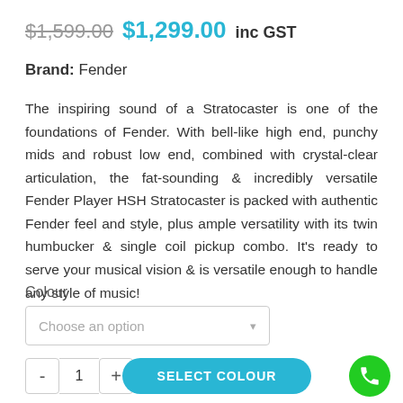$1,599.00 $1,299.00 inc GST
Brand: Fender
The inspiring sound of a Stratocaster is one of the foundations of Fender. With bell-like high end, punchy mids and robust low end, combined with crystal-clear articulation, the fat-sounding & incredibly versatile Fender Player HSH Stratocaster is packed with authentic Fender feel and style, plus ample versatility with its twin humbucker & single coil pickup combo. It's ready to serve your musical vision & is versatile enough to handle any style of music!
Colour
Choose an option
- 1 + SELECT COLOUR